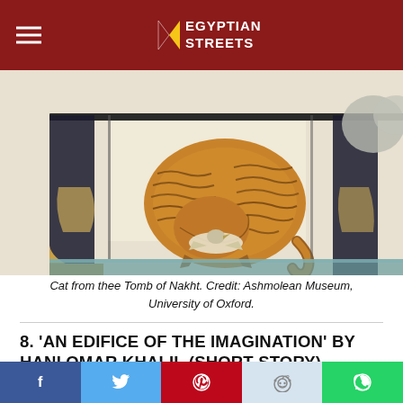Egyptian Streets
[Figure (photo): Ancient Egyptian painting of a cat from the Tomb of Nakht, shown crouching and eating a bird, with human legs and furniture visible around it. Painted in brown, gold, and black tones on a light background.]
Cat from thee Tomb of Nakht. Credit: Ashmolean Museum, University of Oxford.
8. 'AN EDIFICE OF THE IMAGINATION' BY HANI OMAR KHALIL (SHORT STORY)